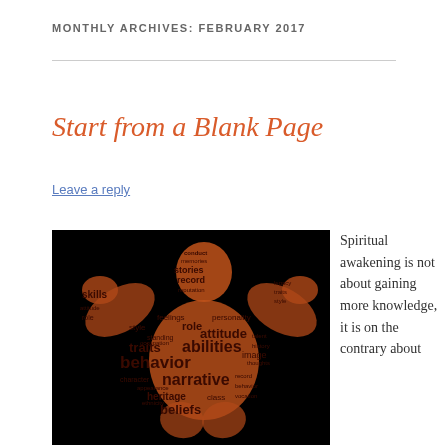MONTHLY ARCHIVES: FEBRUARY 2017
Start from a Blank Page
Leave a reply
[Figure (illustration): Word cloud in the shape of a person with raised fists, with words like behavior, narrative, beliefs, traits, abilities, attitude, personality, character, role, stories, record, heritage, class, standing, image, feelings, style, skills, reputation, conduct, memories, thoughts, talent, history, vocation, etc., rendered in orange tones on a black background.]
Spiritual awakening is not about gaining more knowledge, it is on the contrary about